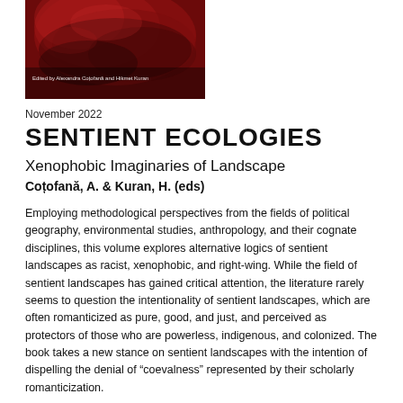[Figure (photo): Book cover image with dark red/crimson tones showing a textured organic form. Text on cover reads 'Edited by Alexandra Coțofană and Hikmet Kuran'.]
November 2022
SENTIENT ECOLOGIES
Xenophobic Imaginaries of Landscape
Coțofană, A. & Kuran, H. (eds)
Employing methodological perspectives from the fields of political geography, environmental studies, anthropology, and their cognate disciplines, this volume explores alternative logics of sentient landscapes as racist, xenophobic, and right-wing. While the field of sentient landscapes has gained critical attention, the literature rarely seems to question the intentionality of sentient landscapes, which are often romanticized as pure, good, and just, and perceived as protectors of those who are powerless, indigenous, and colonized. The book takes a new stance on sentient landscapes with the intention of dispelling the denial of “coevalness” represented by their scholarly romanticization.